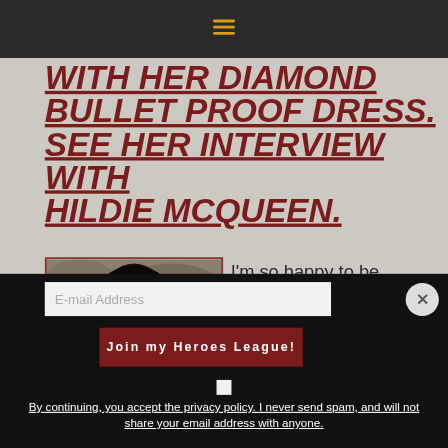Navigation bar with hamburger menu icon
WITH HER DIAMOND BULLET PROOF DRESS. SEE HER INTERVIEW WITH HILDIE MCQUEEN.
[Figure (photo): Portrait photo of a woman with dark hair against a stone/rock background, framed with a dark red border]
I'm so happy to be interviewed by Hildie McQueen...
E-mail Address
Join my Heroes League!
By continuing, you accept the privacy policy. I never send spam, and will not share your email address with anyone.